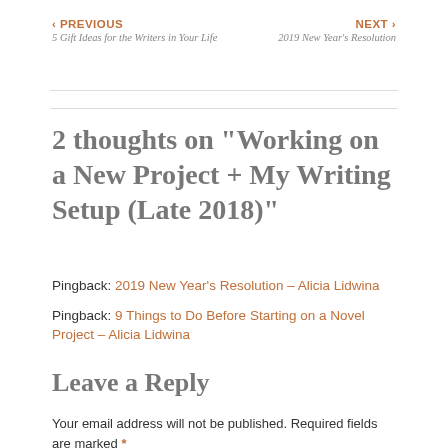‹ PREVIOUS
5 Gift Ideas for the Writers in Your Life
NEXT ›
2019 New Year's Resolution
2 thoughts on “Working on a New Project + My Writing Setup (Late 2018)”
Pingback: 2019 New Year’s Resolution – Alicia Lidwina
Pingback: 9 Things to Do Before Starting on a Novel Project – Alicia Lidwina
Leave a Reply
Your email address will not be published. Required fields are marked *